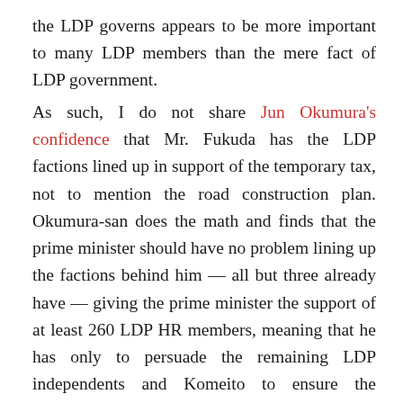the LDP governs appears to be more important to many LDP members than the mere fact of LDP government.
As such, I do not share Jun Okumura's confidence that Mr. Fukuda has the LDP factions lined up in support of the temporary tax, not to mention the road construction plan. Okumura-san does the math and finds that the prime minister should have no problem lining up the factions behind him — all but three already have — giving the prime minister the support of at least 260 LDP HR members, meaning that he has only to persuade the remaining LDP independents and Komeito to ensure the restoration of the tax. But that assumes that factional discipline is ironclad.